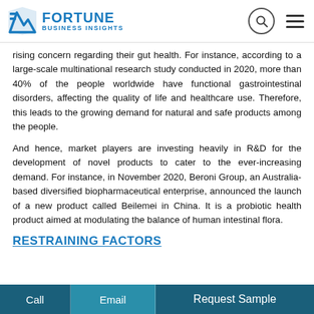FORTUNE BUSINESS INSIGHTS
rising concern regarding their gut health. For instance, according to a large-scale multinational research study conducted in 2020, more than 40% of the people worldwide have functional gastrointestinal disorders, affecting the quality of life and healthcare use. Therefore, this leads to the growing demand for natural and safe products among the people.
And hence, market players are investing heavily in R&D for the development of novel products to cater to the ever-increasing demand. For instance, in November 2020, Beroni Group, an Australia-based diversified biopharmaceutical enterprise, announced the launch of a new product called Beilemei in China. It is a probiotic health product aimed at modulating the balance of human intestinal flora.
RESTRAINING FACTORS
Call   Email   Request Sample